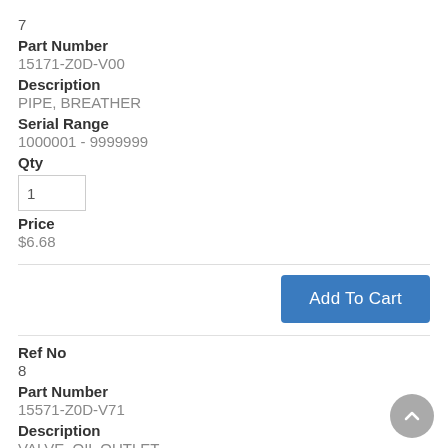7
Part Number
15171-Z0D-V00
Description
PIPE, BREATHER
Serial Range
1000001 - 9999999
Qty
1
Price
$6.68
Add To Cart
Ref No
8
Part Number
15571-Z0D-V71
Description
VALVE, OIL OUTLET
Serial Range